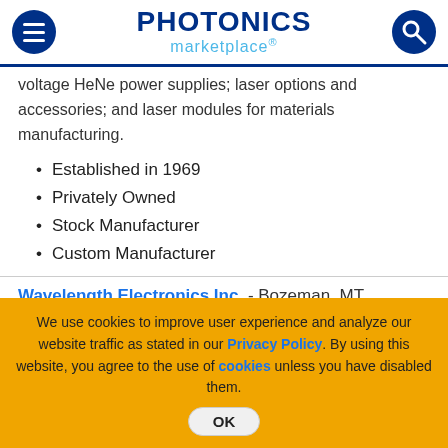PHOTONICS marketplace
voltage HeNe power supplies; laser options and accessories; and laser modules for materials manufacturing.
Established in 1969
Privately Owned
Stock Manufacturer
Custom Manufacturer
Wavelength Electronics Inc. - Bozeman, MT
Established in 1992
10,000-sq ft facility
Privately Owned
We use cookies to improve user experience and analyze our website traffic as stated in our Privacy Policy. By using this website, you agree to the use of cookies unless you have disabled them.